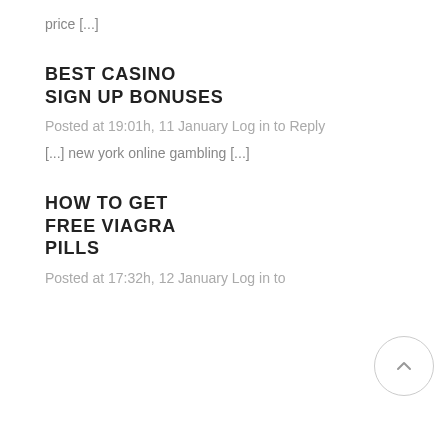price [...]
BEST CASINO SIGN UP BONUSES
Posted at 19:01h, 11 January Log in to Reply
[...] new york online gambling [...]
HOW TO GET FREE VIAGRA PILLS
Posted at 17:32h, 12 January Log in to